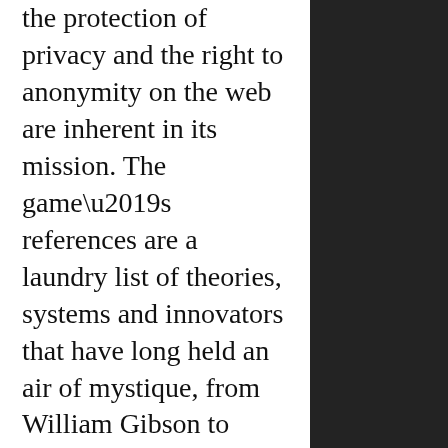the protection of privacy and the right to anonymity on the web are inherent in its mission. The game’s references are a laundry list of theories, systems and innovators that have long held an air of mystique, from William Gibson to William Blake, Kabbalah and Carl Jung to the more modern Webdriver Torso and Linux. It’s meta mysticism born distinctly of and for this era, and it is the last line of defense in a society where the selfie has become this generation’s ouroboros, to the chagrin of anyone still hoping we have a